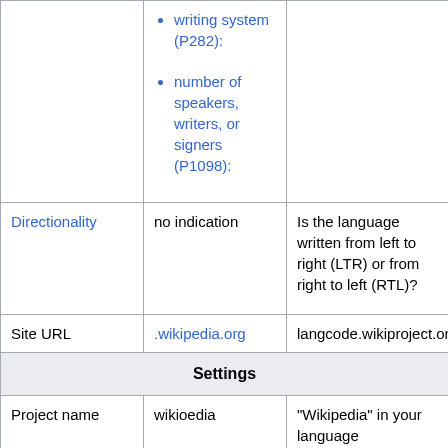|  |  |  |
| --- | --- | --- |
|  | • writing system (P282):
• number of speakers, writers, or signers (P1098): |  |
| Directionality | no indication | Is the language written from left to right (LTR) or from right to left (RTL)? |
| Site URL | .wikipedia.org | langcode.wikiproject.org |
| Settings |  |  |
| Project name | wikioedia | "Wikipedia" in your language |
| Project namespace |  | usually the same as the project name |
|  |  | "Wikipedia talk" (the |